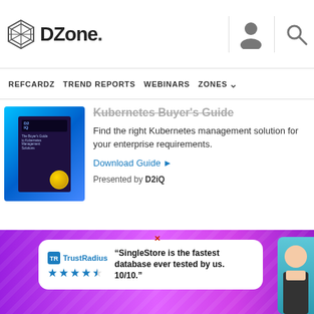DZone
REFCARDZ   TREND REPORTS   WEBINARS   ZONES
[Figure (screenshot): DZone promotional block for Kubernetes Buyer's Guide by D2iQ, showing book cover image with blue/purple gradient background]
Find the right Kubernetes management solution for your enterprise requirements.
Download Guide ►
Presented by D2iQ
ABOUT US
About DZone
Send feedback
Ca
Sit
AD
[Figure (screenshot): TrustRadius ad overlay with quote: "SingleStore is the fastest database ever tested by us. 10/10." with star rating and person avatar, on purple/pink gradient background]
Advertise with DZone